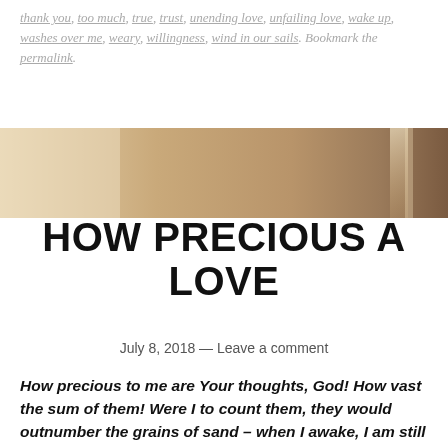thank you, too much, true, trust, unending love, unfailing love, wake up, washes over me, weary, willingness, wind in our sails. Bookmark the permalink.
[Figure (photo): A warm golden-toned banner image with soft light, appearing to show a natural scene with warm beige and brown tones fading left to right]
HOW PRECIOUS A LOVE
July 8, 2018 — Leave a comment
How precious to me are Your thoughts, God! How vast the sum of them! Were I to count them, they would outnumber the grains of sand – when I awake, I am still with You. – (Psalm 139:17-18, NIV)